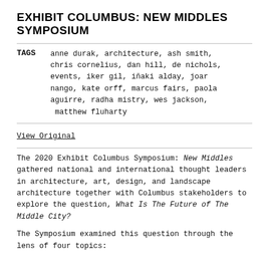EXHIBIT COLUMBUS: NEW MIDDLES SYMPOSIUM
TAGS  anne durak, architecture, ash smith, chris cornelius, dan hill, de nichols, events, iker gil, iñaki alday, joar nango, kate orff, marcus fairs, paola aguirre, radha mistry, wes jackson, matthew fluharty
View Original
The 2020 Exhibit Columbus Symposium: New Middles gathered national and international thought leaders in architecture, art, design, and landscape architecture together with Columbus stakeholders to explore the question, What Is The Future of The Middle City?
The Symposium examined this question through the lens of four topics: